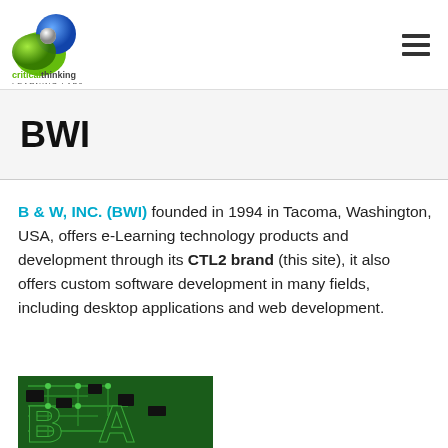criticalthinking LEARNING LABS
BWI
B & W, INC. (BWI) founded in 1994 in Tacoma, Washington, USA, offers e-Learning technology products and development through its CTL2 brand (this site), it also offers custom software development in many fields, including desktop applications and web development.
[Figure (photo): Circuit board image with green PCB background and stylized text logo]